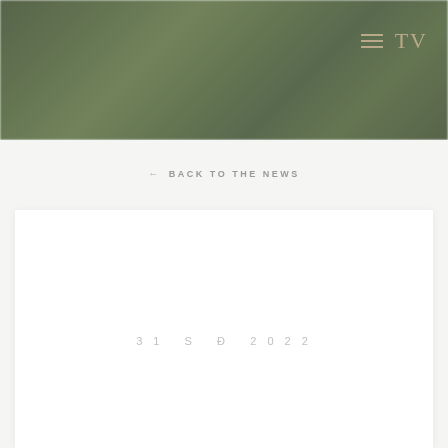[Figure (photo): Dark green forest/tree canopy background image used as website header banner]
≡  TV
← BACK TO THE NEWS
31 S Đ 2022